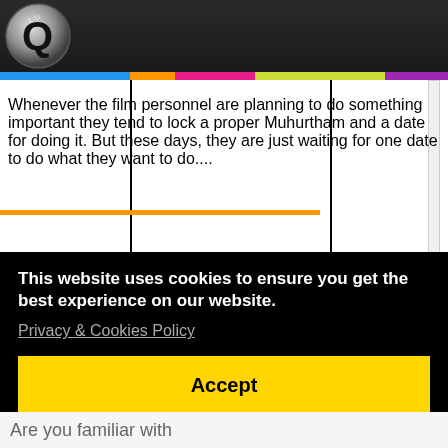[Figure (logo): QuickTime-style logo Q with film reel icon on dark header bar]
Whenever the film personnel are planning to do something important they tend to lock a proper Muhurtham and a date for doing it. But these days, they are just waiting for one date to do what they want to do....
This website uses cookies to ensure you get the best experience on our website. Privacy & Cookies Policy
Accept
Are you familiar with